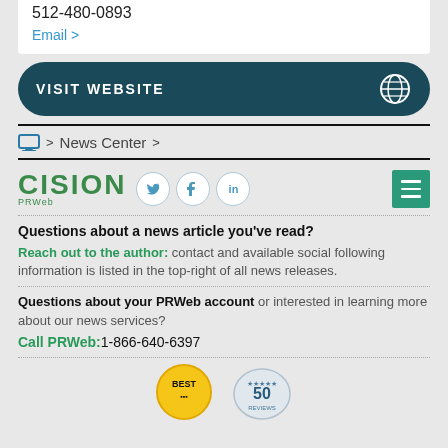512-480-0893
Email >
VISIT WEBSITE
> News Center >
[Figure (logo): CISION PRWeb logo with Twitter, Facebook, LinkedIn social icons and hamburger menu button]
Questions about a news article you've read?
Reach out to the author: contact and available social following information is listed in the top-right of all news releases.
Questions about your PRWeb account or interested in learning more about our news services?
Call PRWeb:1-866-640-6397
[Figure (illustration): BEST and 50 award badge icons at bottom]